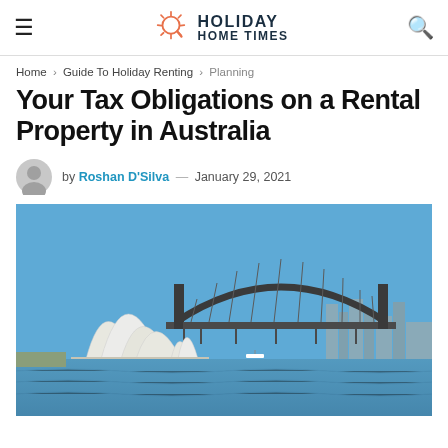Holiday Home Times
Home > Guide To Holiday Renting > Planning
Your Tax Obligations on a Rental Property in Australia
by Roshan D'Silva — January 29, 2021
[Figure (photo): Sydney Opera House with Harbour Bridge in the background, viewed from the water on a clear blue-sky day.]